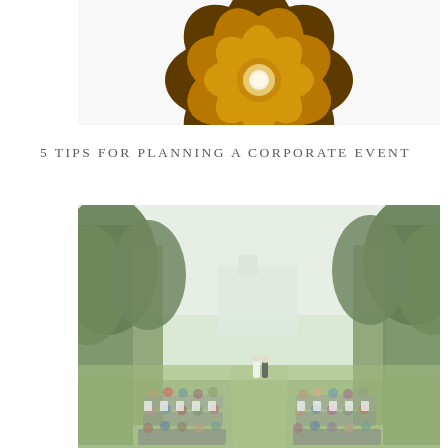[Figure (photo): Close-up top-down view of a golden/amber decorative flower-shaped candle holder with a white candle lit in the center, on a white background.]
5 TIPS FOR PLANNING A CORPORATE EVENT
[Figure (photo): Outdoor wedding ceremony scene with guests seated in white chairs on green grass, large trees lining the aisle, and a couple at the altar in the distance with a building visible in the background. Soft, slightly faded color tones.]